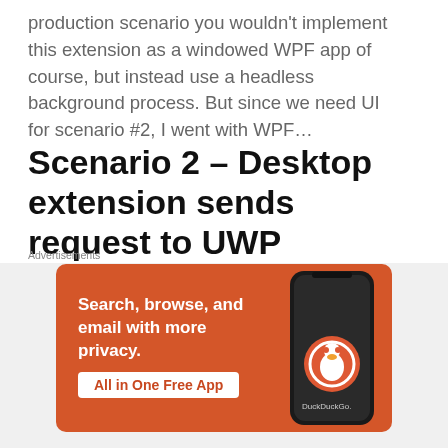production scenario you wouldn't implement this extension as a windowed WPF app of course, but instead use a headless background process. But since we need UI for scenario #2, I went with WPF…
Scenario 2 – Desktop extension sends request to UWP
To show the reverse communication flow I am just picking a dummy scenario: I will send two double values from WPF to UWP and let the UWP app respond with
Advertisements
[Figure (infographic): DuckDuckGo advertisement banner with orange background. Text reads 'Search, browse, and email with more privacy. All in One Free App'. Shows a phone image and DuckDuckGo logo.]